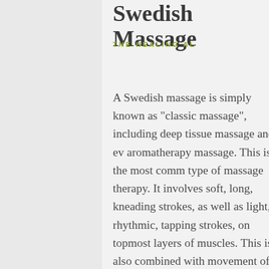Swedish Massage
THE HEALING AL
A Swedish massage is simply known as "classic massage", including deep tissue massage and even aromatherapy massage. This is the most common type of massage therapy. It involves soft, long, kneading strokes, as well as light, rhythmic, tapping strokes, on topmost layers of muscles. This is also combined with movement of the joints. By relieving muscle tension, Swedish therapy can be both relaxing and energizing. And may even help after an injury. Swedish massage also offers a whole host of other health benefits, including: easing muscular strain by flushing out toxins, improving blood circulation and blow fl...